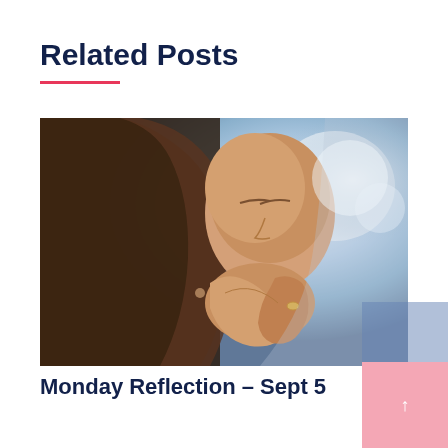Related Posts
[Figure (photo): A young woman with long brown hair praying with her hands clasped together near her face, eyes closed. Background is blurred blue and white bokeh.]
Monday Reflection – Sept 5